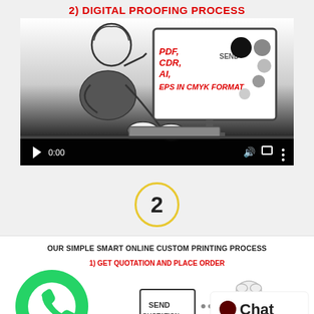2) DIGITAL PROOFING PROCESS
[Figure (screenshot): Animated video screenshot showing a person at a computer with a monitor displaying 'PDF, CDR, AI, EPS IN CMYK FORMAT' in red italic text with color dots and SEND label, with video player controls showing 0:00]
[Figure (infographic): Yellow-outlined circle with number 2 inside]
OUR SIMPLE SMART ONLINE CUSTOM PRINTING PROCESS
1) GET QUOTATION AND PLACE ORDER
[Figure (infographic): WhatsApp green button icon, SEND QUOTATION box, and Chat button with dark dot icon]